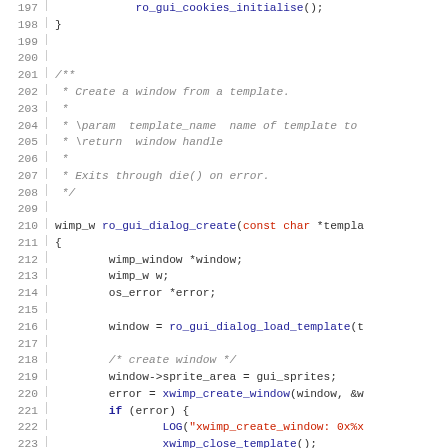[Figure (screenshot): Source code listing in C, lines 197-226, showing a function ro_gui_dialog_create with comments and syntax highlighting. Keywords in dark blue, string literals in red, comments in grey italic, normal code in dark grey/black.]